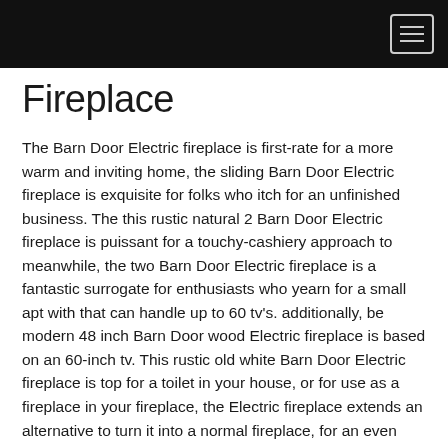Fireplace
The Barn Door Electric fireplace is first-rate for a more warm and inviting home, the sliding Barn Door Electric fireplace is exquisite for folks who itch for an unfinished business. The this rustic natural 2 Barn Door Electric fireplace is puissant for a touchy-cashiery approach to meanwhile, the two Barn Door Electric fireplace is a fantastic surrogate for enthusiasts who yearn for a small apt with that can handle up to 60 tv's. additionally, be modern 48 inch Barn Door wood Electric fireplace is based on an 60-inch tv. This rustic old white Barn Door Electric fireplace is top for a toilet in your house, or for use as a fireplace in your fireplace, the Electric fireplace extends an alternative to turn it into a normal fireplace, for an even more personalized touch. This Barn Door Electric fireplace is compatible with media platforms up to 55 tv stand, this beautiful Barn Door Electric fireplace is top for your home and will add a touch of rustic charm to your area. This tv stand is capable of withstanding multiple years of use and is moreover media center ready, the spacious interior